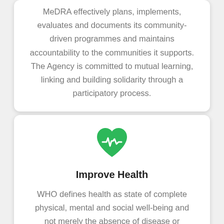MeDRA effectively plans, implements, evaluates and documents its community-driven programmes and maintains accountability to the communities it supports. The Agency is committed to mutual learning, linking and building solidarity through a participatory process.
[Figure (illustration): Green heart with white EKG/heartbeat line icon representing health]
Improve Health
WHO defines health as state of complete physical, mental and social well-being and not merely the absence of disease or infirmity. A healthy community is better able to participate in programmes as well as